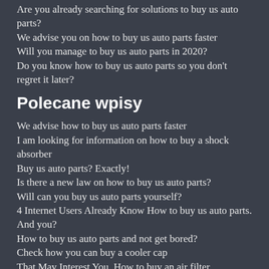Are you already searching for solutions to buy us auto parts?
We advise you on how to buy us auto parts faster
Will you manage to buy us auto parts in 2020?
Do you know how to buy us auto parts so you don't regret it later?
Polecane wpisy
We advise how to buy us auto parts faster
I am looking for information on how to buy a shock absorber
Buy us auto parts? Exactly!
Is there a new law on how to buy us auto parts?
Will can you buy us auto parts yourself?
4 Internet Users Already Know How to buy us auto parts. And you?
How to buy us auto parts and not get bored?
Check how you can buy a cooler cap
That May Interest You. How to buy an air filter